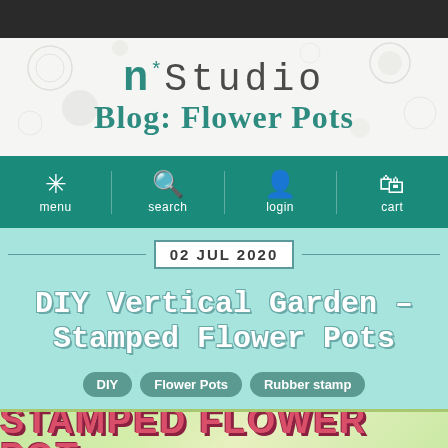n*Studio Blog: Flower Pots
menu  search  login  cart
02 JUL 2020
DIY Vertical Garden – Stamped Flower Pots
DIY
Flower Pots
Rubber stamp
[Figure (photo): Stamped Flower Pot Vertical Garden image with large decorative text reading STAMPED FLOWER POT VERTICAL GARDEN on a light green/beige background]